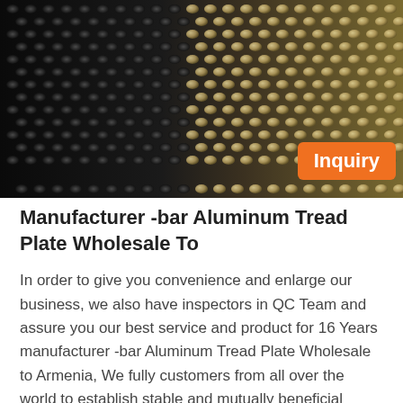[Figure (photo): Close-up photograph of aluminum tread plate with raised diamond/stud pattern. The left portion is darker/black and the right portion shows metallic silver-gold sheen. An orange 'Inquiry' button overlays the bottom-right of the image.]
Manufacturer -bar Aluminum Tread Plate Wholesale To
In order to give you convenience and enlarge our business, we also have inspectors in QC Team and assure you our best service and product for 16 Years manufacturer -bar Aluminum Tread Plate Wholesale to Armenia, We fully customers from all over the world to establish stable and mutually beneficial business